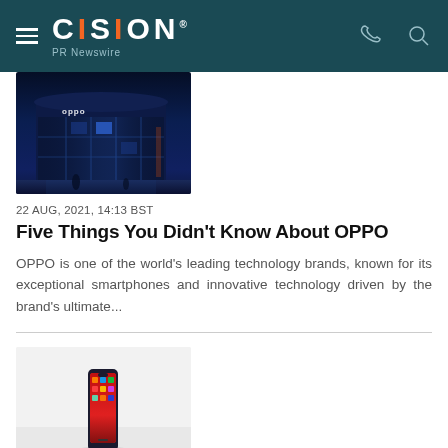CISION PR Newswire
[Figure (photo): OPPO store building exterior at night with blue lighting]
22 AUG, 2021, 14:13 BST
Five Things You Didn't Know About OPPO
OPPO is one of the world's leading technology brands, known for its exceptional smartphones and innovative technology driven by the brand's ultimate...
[Figure (photo): OPPO smartphone product photo on white background]
10 AUG, 2021, 12:42 BST